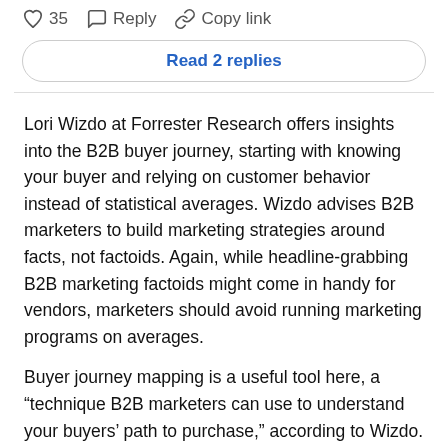♡ 35   Reply   Copy link
Read 2 replies
Lori Wizdo at Forrester Research offers insights into the B2B buyer journey, starting with knowing your buyer and relying on customer behavior instead of statistical averages. Wizdo advises B2B marketers to build marketing strategies around facts, not factoids. Again, while headline-grabbing B2B marketing factoids might come in handy for vendors, marketers should avoid running marketing programs on averages.
Buyer journey mapping is a useful tool here, a “technique B2B marketers can use to understand your buyers’ path to purchase,” according to Wizdo. While some buyers prefer to engage with sales reps who can guide them as they craft their vision, other buyers prefer to go the route of self-education via professional contacts and peer-created content. Others prefer to do their research on vendor websites. But these processes are always customer-driven, and the B2B marketer forgets this fact at her own risk.
B2B Social Media: